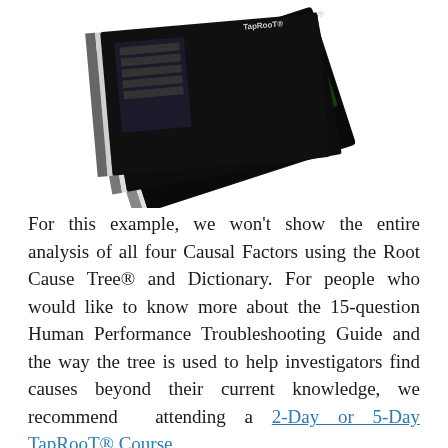[Figure (photo): A stack of TapRooT spiral-bound books arranged at an angle, including the Root Cause Tree Dictionary and other TapRooT reference guides, on a white background.]
For this example, we won't show the entire analysis of all four Causal Factors using the Root Cause Tree® and Dictionary. For people who would like to know more about the 15-question Human Performance Troubleshooting Guide and the way the tree is used to help investigators find causes beyond their current knowledge, we recommend  attending a 2-Day or 5-Day TapRooT® Course